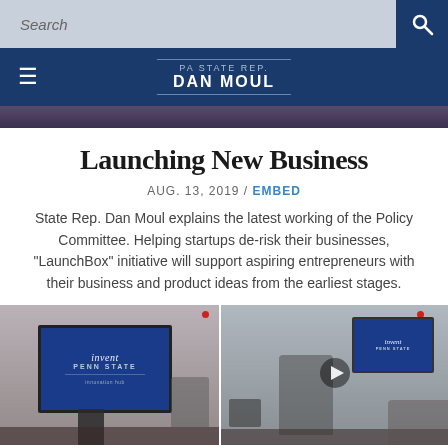Search
PA STATE REP. DAN MOUL
Launching New Business
AUG. 13, 2019 / EMBED
State Rep. Dan Moul explains the latest working of the Policy Committee. Helping startups de-risk their businesses, "LaunchBox" initiative will support aspiring entrepreneurs with their business and product ideas from the earliest stages.
[Figure (photo): Two-panel photo showing an Invent Penn State presentation screen on the left panel and a speaker at a podium with the same Invent Penn State screen visible in the background on the right panel.]